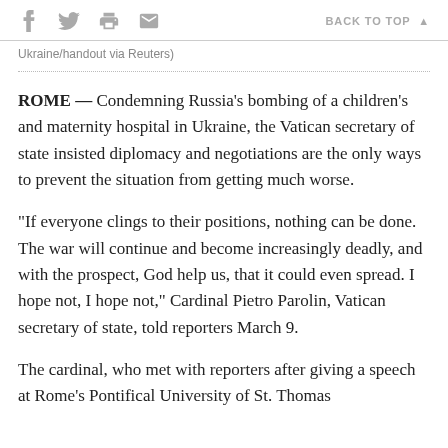f  [twitter]  [print]  [email]    BACK TO TOP ▲
Ukraine/handout via Reuters)
ROME — Condemning Russia's bombing of a children's and maternity hospital in Ukraine, the Vatican secretary of state insisted diplomacy and negotiations are the only ways to prevent the situation from getting much worse.
"If everyone clings to their positions, nothing can be done. The war will continue and become increasingly deadly, and with the prospect, God help us, that it could even spread. I hope not, I hope not," Cardinal Pietro Parolin, Vatican secretary of state, told reporters March 9.
The cardinal, who met with reporters after giving a speech at Rome's Pontifical University of St. Thomas